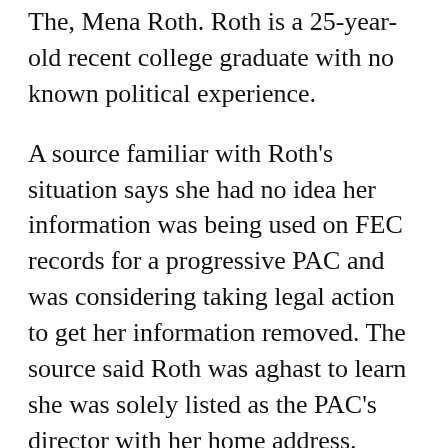The, Mena Roth. Roth is a 25-year-old recent college graduate with no known political experience.
A source familiar with Roth's situation says she had no idea her information was being used on FEC records for a progressive PAC and was considering taking legal action to get her information removed. The source said Roth was aghast to learn she was solely listed as the PAC's director with her home address.
Roth, according to the source, was approached in the spring by her then-boyfriend Kyle Davies about having her name on records about a PAC raising money for Republicans. Roth, the source alleged, was led to believe she'd receive a monthly stipend as part of business venture working to elect